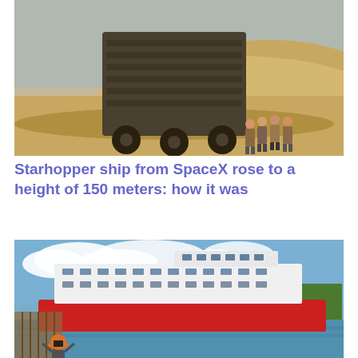[Figure (photo): Black and white / sepia photo of a large boxy metallic structure on wheels in a desert/sandy landscape, with several people pushing it from behind]
Starhopper ship from SpaceX rose to a height of 150 meters: how it was
[Figure (photo): Color photo of a large river cruise ship (red and white hull) being launched or maneuvered near a dock/river bank, with a person wearing an orange hard hat in the foreground photographing the scene]